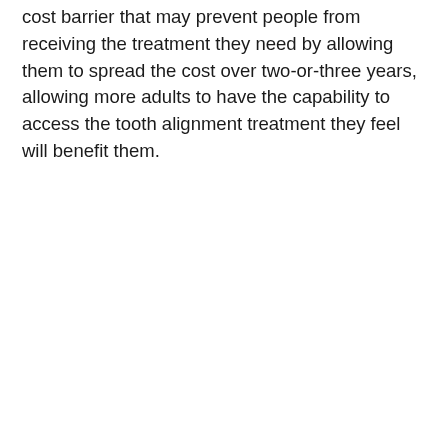cost barrier that may prevent people from receiving the treatment they need by allowing them to spread the cost over two-or-three years, allowing more adults to have the capability to access the tooth alignment treatment they feel will benefit them.